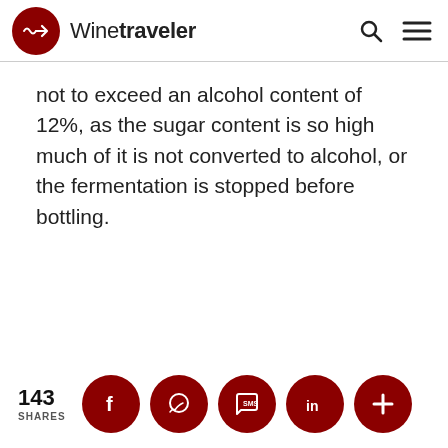Winetraveler
not to exceed an alcohol content of 12%, as the sugar content is so high much of it is not converted to alcohol, or the fermentation is stopped before bottling.
143 SHARES [social share buttons: Facebook, WhatsApp, SMS, LinkedIn, More]